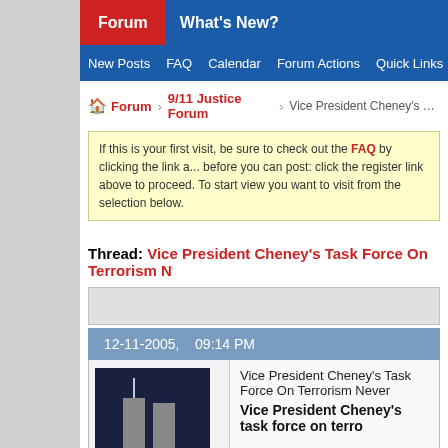Forum | What's New?
New Posts | FAQ | Calendar | Forum Actions | Quick Links
Forum > 9/11 Justice Forum > Vice President Cheney's Task F...
If this is your first visit, be sure to check out the FAQ by clicking the link a... before you can post: click the register link above to proceed. To start vie... you want to visit from the selection below.
Thread: Vice President Cheney's Task Force On Terrorism N...
12-11-2005, 09:14 PM
Gold9472
Tired...
Vice President Cheney's Task Force On Terrorism Never...
Vice President Cheney's task force on terror...